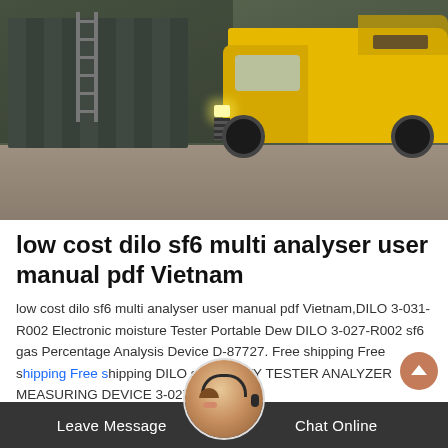[Figure (photo): Industrial warehouse scene with yellow trucks parked on a concrete floor, industrial equipment and scaffolding/ladder visible on the left side background]
low cost dilo sf6 multi analyser user manual pdf Vietnam
low cost dilo sf6 multi analyser user manual pdf Vietnam,DILO 3-031-R002 Electronic moisture Tester Portable Dew DILO 3-027-R002 sf6 gas Percentage Analysis Device D-87727. Free shipping Free shipping Free shipping DILO sf6 PURITY TESTER ANALYZER MEASURING DEVICE 3-027-R701
Leave Message   Chat Online